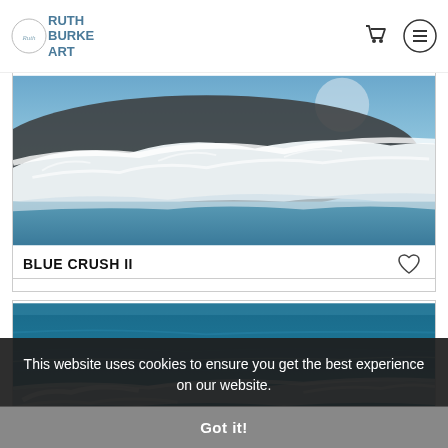RUTH BURKE ART
[Figure (photo): Ocean wave crashing with moonlit blue sky background - Blue Crush II artwork]
BLUE CRUSH II
[Figure (photo): Ocean wave with deep teal blue water and white foam from aerial perspective]
This website uses cookies to ensure you get the best experience on our website.
Got it!